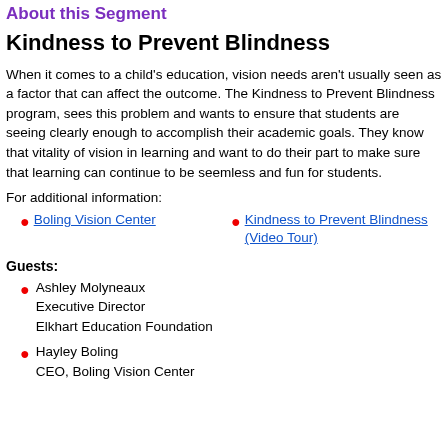About this Segment
Kindness to Prevent Blindness
When it comes to a child's education, vision needs aren't usually seen as a factor that can affect the outcome. The Kindness to Prevent Blindness program, sees this problem and wants to ensure that students are seeing clearly enough to accomplish their academic goals. They know that vitality of vision in learning and want to do their part to make sure that learning can continue to be seemless and fun for students.
For additional information:
Boling Vision Center
Kindness to Prevent Blindness (Video Tour)
Guests:
Ashley Molyneaux
Executive Director
Elkhart Education Foundation
Hayley Boling
CEO, Boling Vision Center